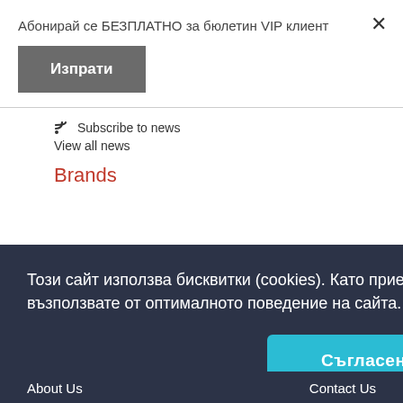Абонирай се БЕЗПЛАТНО за бюлетин VIP клиент
Изпрати
Subscribe to news
View all news
Brands
Този сайт използва бисквитки (cookies). Като приемете бисквитките, можете да се възползвате от оптималното поведение на сайта.  Научи повече
Съгласен съм
About Us
Contact Us